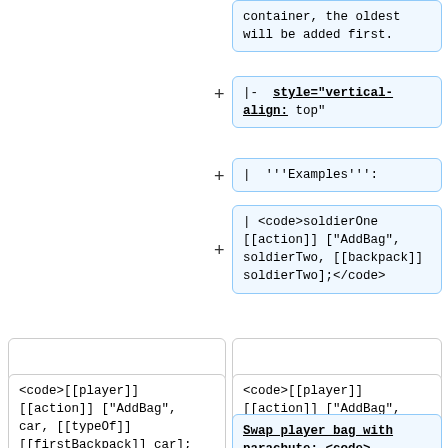container, the oldest will be added first.
|- style="vertical-align: top"
| '''Examples''':
| <code>soldierOne [[action]] ["AddBag", soldierTwo, [[backpack]] soldierTwo];</code>
(plain box left, plain box right)
<code>[[player]] [[action]] ["AddBag", car, [[typeOf]] [[firstBackpack]] car]; </code>
<code>[[player]] [[action]] ["AddBag", car, [[typeOf]] [[firstBackpack]] car]; </code>
Swap player bag with parachute: <code>